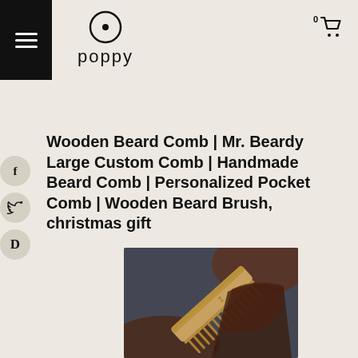poppy — navigation header with hamburger menu, logo, and cart icon
Wooden Beard Comb | Mr. Beardy Large Custom Comb | Handmade Beard Comb | Personalized Pocket Comb | Wooden Beard Brush, christmas gift
[Figure (photo): A wooden beard comb with engraved design lying on a dark leather/fabric background, photographed from above.]